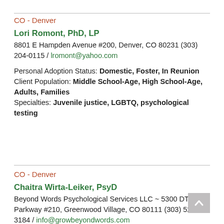CO - Denver
Lori Romont, PhD, LP
8801 E Hampden Avenue #200, Denver, CO 80231 (303) 204-0115 / lromont@yahoo.com
Personal Adoption Status: Domestic, Foster, In Reunion
Client Population: Middle School-Age, High School-Age, Adults, Families
Specialties: Juvenile justice, LGBTQ, psychological testing
CO - Denver
Chaitra Wirta-Leiker, PsyD
Beyond Words Psychological Services LLC ~ 5300 DTC Parkway #210, Greenwood Village, CO 80111 (303) 522-3184 / info@growbeyondwords.com
Personal Adoption Status: Transracial, International
Client Population: High School-Age, Adults, Families